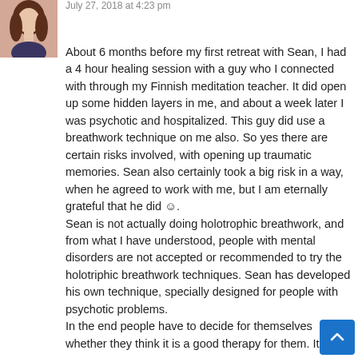[Figure (photo): Profile photo of a woman with long brown hair wearing a dark top]
July 27, 2018 at 4:23 pm
About 6 months before my first retreat with Sean, I had a 4 hour healing session with a guy who I connected with through my Finnish meditation teacher. It did open up some hidden layers in me, and about a week later I was psychotic and hospitalized. This guy did use a breathwork technique on me also. So yes there are certain risks involved, with opening up traumatic memories. Sean also certainly took a big risk in a way, when he agreed to work with me, but I am eternally grateful that he did ☺.
Sean is not actually doing holotrophic breathwork, and from what I have understood, people with mental disorders are not accepted or recommended to try the holotriphic breathwork techniques. Sean has developed his own technique, specially designed for people with psychotic problems.
In the end people have to decide for themselves whether they think it is a good therapy for them. It is